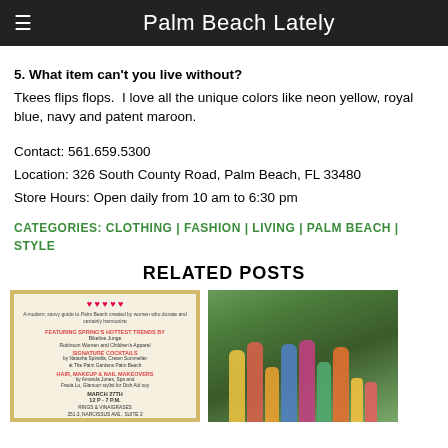≡  Palm Beach Lately
5. What item can't you live without?
Tkees flips flops.  I love all the unique colors like neon yellow, royal blue, navy and patent maroon.
Contact: 561.659.5300
Location: 326 South County Road, Palm Beach, FL 33480
Store Hours: Open daily from 10 am to 6:30 pm
CATEGORIES: CLOTHING | FASHION | LIVING | PALM BEACH | STYLE
RELATED POSTS
[Figure (photo): Event flyer image for a Palm Beach fashion event with gold border]
[Figure (photo): Group photo of women and children in colorful dresses outdoors]